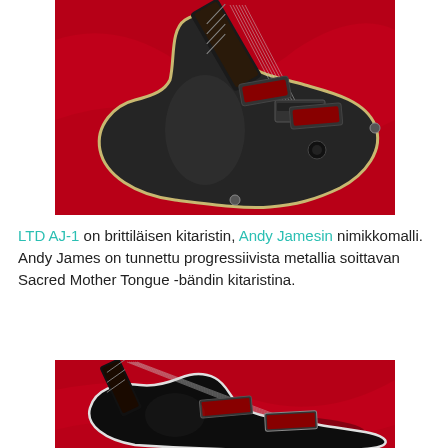[Figure (photo): Black electric guitar (LTD AJ-1) with matte finish, two humbuckers with red covers, chrome hardware, lying on a red fabric background. Shot from slightly above.]
LTD AJ-1 on brittiläisen kitaristin, Andy Jamesin nimikkomalli. Andy James on tunnettu progressiivista metallia soittavan Sacred Mother Tongue -bändin kitaristina.
[Figure (photo): Dark black electric guitar (possibly LTD EC-style) with red/chrome pickup covers, lying on a red fabric background. Shot from a different angle showing the upper body and neck.]